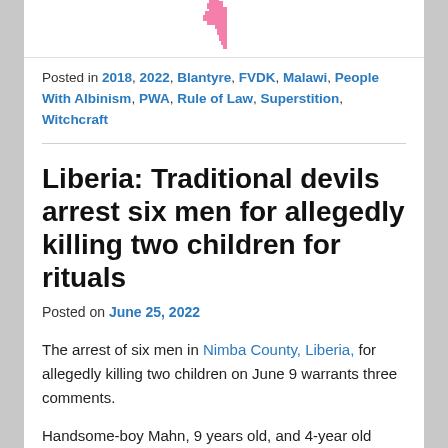[Figure (illustration): Partial view of a pink pixel-art figure of Africa map or similar shape at the top of the page]
Posted in 2018, 2022, Blantyre, FVDK, Malawi, People With Albinism, PWA, Rule of Law, Superstition, Witchcraft
Liberia: Traditional devils arrest six men for allegedly killing two children for rituals
Posted on June 25, 2022
The arrest of six men in Nimba County, Liberia, for allegedly killing two children on June 9 warrants three comments.
Handsome-boy Mahn, 9 years old, and 4-year old Zayzay David mysteriously went missing in Boe Bonlay Town,